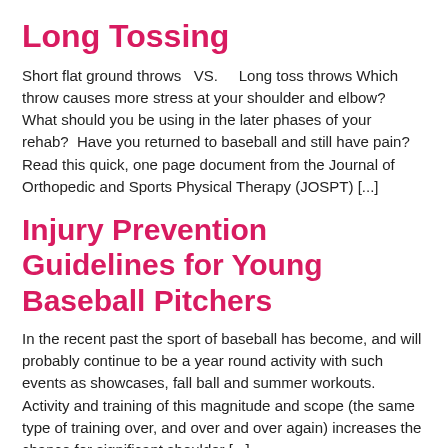Long Tossing
Short flat ground throws   VS.    Long toss throws Which throw causes more stress at your shoulder and elbow?  What should you be using in the later phases of your rehab?  Have you returned to baseball and still have pain?  Read this quick, one page document from the Journal of Orthopedic and Sports Physical Therapy (JOSPT) [...]
Injury Prevention Guidelines for Young Baseball Pitchers
In the recent past the sport of baseball has become, and will probably continue to be a year round activity with such events as showcases, fall ball and summer workouts. Activity and training of this magnitude and scope (the same type of training over, and over and over again) increases the chance for significant shoulder [...]